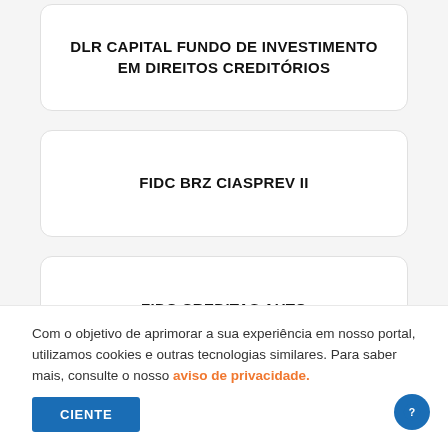DLR CAPITAL FUNDO DE INVESTIMENTO EM DIREITOS CREDITÓRIOS
FIDC BRZ CIASPREV II
FIDC CREDITAS AUTO
Com o objetivo de aprimorar a sua experiência em nosso portal, utilizamos cookies e outras tecnologias similares. Para saber mais, consulte o nosso aviso de privacidade.
CIENTE